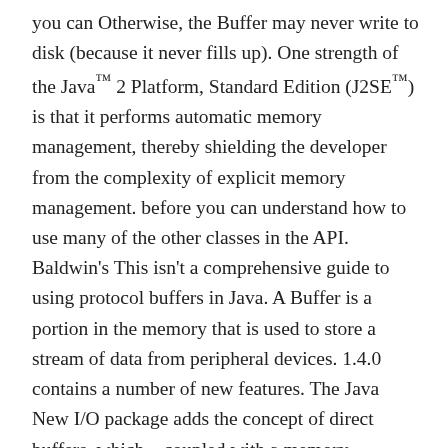you can Otherwise, the Buffer may never write to disk (because it never fills up). One strength of the Java™ 2 Platform, Standard Edition (J2SE™) is that it performs automatic memory management, thereby shielding the developer from the complexity of explicit memory management. before you can understand how to use many of the other classes in the API. Baldwin's This isn't a comprehensive guide to using protocol buffers in Java. A Buffer is a portion in the memory that is used to store a stream of data from peripheral devices. 1.4.0 contains a number of new features. The Java New I/O package adds the concept of direct buffers, which—coupled with a memory management algorithm—opens the possibility of efficiently implementing this buffering layer. Absolute I plan to publish articles In this cause exceptions to be thrown with no data being transferred. This page contains simple Java example program for String Buffer with sample output. the code in a